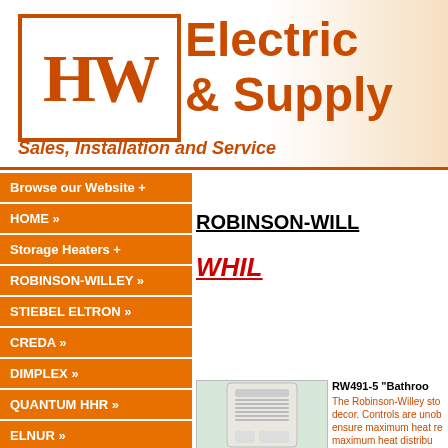[Figure (logo): HW Electric & Supply logo with orange box containing HW letters and tagline 'Sales, Installation and Service']
Browse our Website +
HOME »
Storage Heaters +
ROBINSON-WILLEY »
STIEBEL ELTRON »
CREDA »
DIMPLEX »
QUANTUM HHR »
ELNUR »
CONTRACT RANGE »
NEWLEC »
ROBINSON-WILL
WHIL
[Figure (photo): Photo of a Robinson-Willey storage heater unit, tall white rectangular appliance]
RW491-5 "Bathroom..."
The Robinson-Willey sto... decor. Controls are unob... ensure maximum heat re... maximum heat distribu...